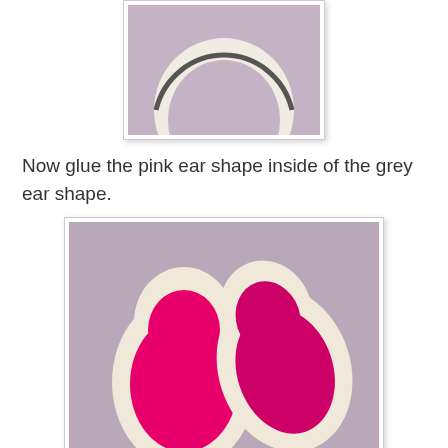[Figure (photo): A grey semicircle ear shape cut from felt, shown on a lavender/grey background, viewed from above.]
Now glue the pink ear shape inside of the grey ear shape.
[Figure (photo): Two bunny/mouse ear shapes made from cream/beige felt with bright pink felt pieces glued inside, on a grey/lavender background.]
Glue around the edge of your raindrop shape--the mouse body, but leave an opening near the bottom back edge--this is where the candy can will slip in for the tail.
On both sides of you mouse, draw little face with eyes, ears, and whiskers, then glue on ear to both sides. The face is on